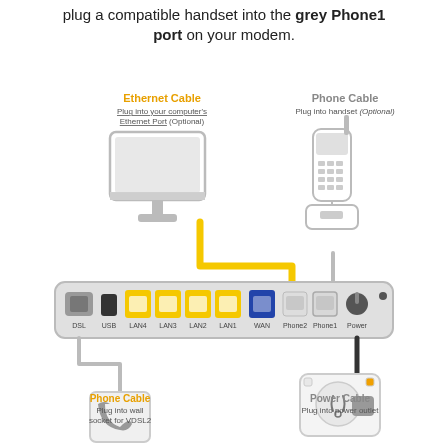plug a compatible handset into the grey Phone1 port on your modem.
[Figure (infographic): Network setup diagram showing a modem/router with labeled ports (DSL, USB, LAN4, LAN3, LAN2, LAN1, WAN, Phone2, Phone1, Power) connected via cables to a computer (Ethernet Cable - optional), a cordless phone handset (Phone Cable - optional), a wall socket (Phone Cable for VDSL2), and a power outlet (Power Cable).]